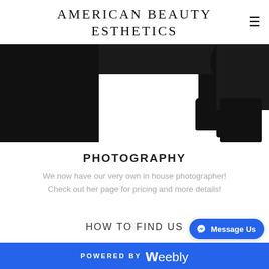AMERICAN BEAUTY ESTHETICS
[Figure (photo): Black silhouette illustration of two pairs of legs wearing boots/heeled shoes, cropped from above the knee, against a white background.]
PHOTOGRAPHY
We now have our very own in house photographer! Check out her page for pricing and more details!
HOW TO FIND US
POWERED BY weebly